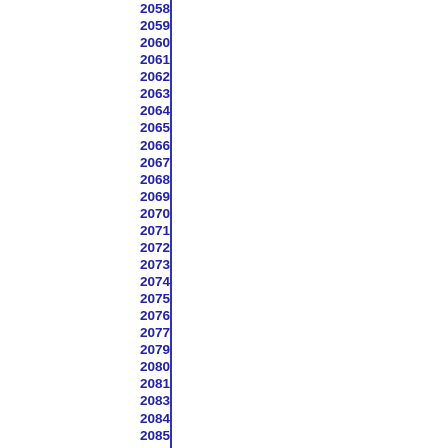2058
2059
2060
2061
2062
2063
2064
2065
2066
2067
2068
2069
2070
2071
2072
2073
2074
2075
2076
2077
2079
2080
2081
2083
2084
2085
2086
2087
2089
2091
2093
2096
2097